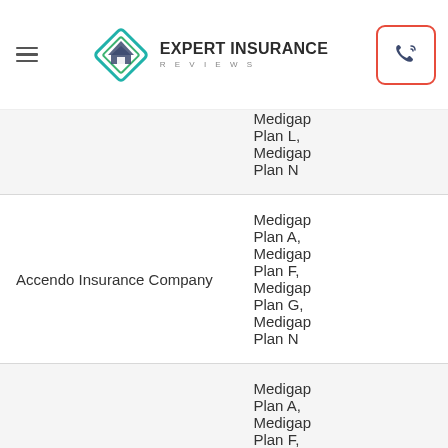Expert Insurance Reviews
| Company | Plans Offered |
| --- | --- |
|  | Medigap Plan L, Medigap Plan N |
| Accendo Insurance Company | Medigap Plan A, Medigap Plan F, Medigap Plan G, Medigap Plan N |
|  | Medigap Plan A, Medigap Plan F, ... |